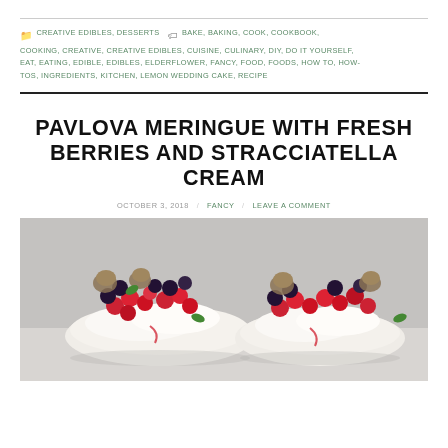CREATIVE EDIBLES, DESSERTS  BAKE, BAKING, COOK, COOKBOOK, COOKING, CREATIVE, CREATIVE EDIBLES, CUISINE, CULINARY, DIY, DO IT YOURSELF, EAT, EATING, EDIBLE, EDIBLES, ELDERFLOWER, FANCY, FOOD, FOODS, HOW TO, HOW-TOS, INGREDIENTS, KITCHEN, LEMON WEDDING CAKE, RECIPE
PAVLOVA MERINGUE WITH FRESH BERRIES AND STRACCIATELLA CREAM
OCTOBER 3, 2018 / FANCY / LEAVE A COMMENT
[Figure (photo): A pavlova meringue dessert topped with fresh berries including raspberries, blackberries, figs, and cream, photographed on a light background.]